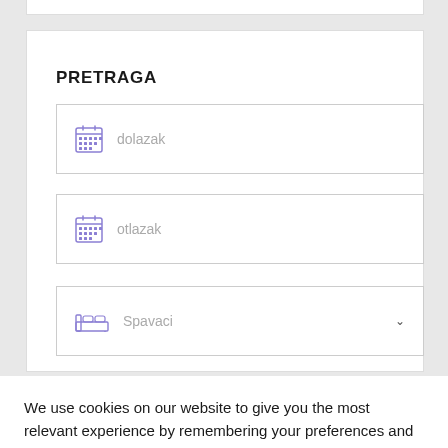PRETRAGA
[Figure (screenshot): Search form with three input fields: dolazak (arrival date), otlazak (departure date), Spavaci (bedrooms dropdown)]
We use cookies on our website to give you the most relevant experience by remembering your preferences and repeat visits. By clicking “Accept”, you consent to the use of ALL the cookies.
Cookie settings
ACCEPT